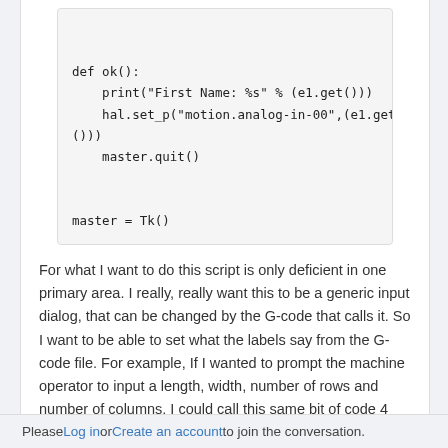[Figure (screenshot): Code block showing Python/Tkinter snippet: def ok(): print, hal.set_p, master.quit, and master = Tk() partially visible at bottom]
For what I want to do this script is only deficient in one primary area. I really, really want this to be a generic input dialog, that can be changed by the G-code that calls it. So I want to be able to set what the labels say from the G-code file. For example, If I wanted to prompt the machine operator to input a length, width, number of rows and number of columns. I could call this same bit of code 4 times, and each time it would have the appropriate set of labels.
Can anyone point me to a possible (not too difficult) way to do that?
Please Log in or Create an account to join the conversation.